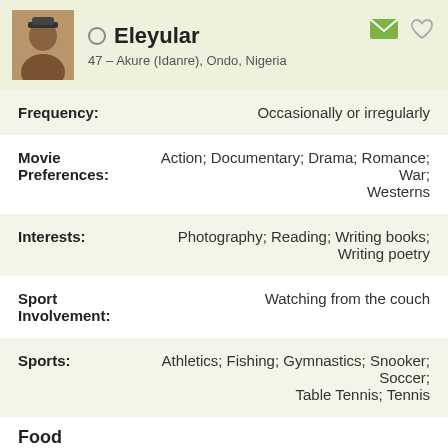Eleyular – 47 – Akure (Idanre), Ondo, Nigeria
Frequency: Occasionally or irregularly
Movie Preferences: Action; Documentary; Drama; Romance; War; Westerns
Interests: Photography; Reading; Writing books; Writing poetry
Sport Involvement: Watching from the couch
Sports: Athletics; Fishing; Gymnastics; Snooker; Soccer; Table Tennis; Tennis
Food
Cooking: I really enjoy cooking